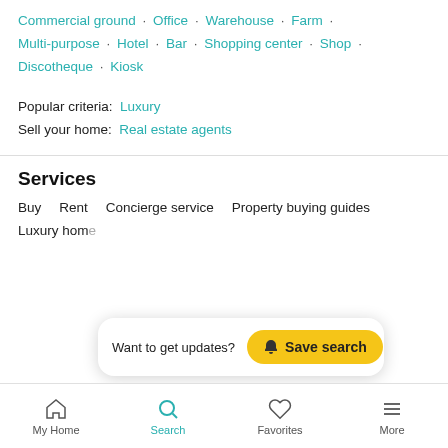Commercial ground · Office · Warehouse · Farm · Multi-purpose · Hotel · Bar · Shopping center · Shop · Discotheque · Kiosk
Popular criteria: Luxury
Sell your home: Real estate agents
Services
Buy
Rent
Concierge service
Property buying guides
Luxury home
Want to get updates?  Save search
My Home  Search  Favorites  More